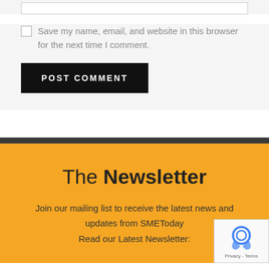Save my name, email, and website in this browser for the next time I comment.
POST COMMENT
The Newsletter
Join our mailing list to receive the latest news and updates from SMEToday
Read our Latest Newsletter: